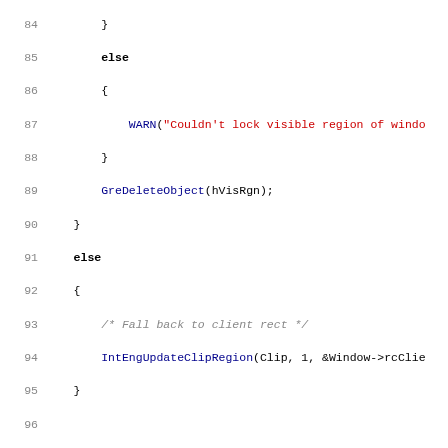[Figure (screenshot): Source code listing in C, lines 84-115, showing code for IntEngWindowChanged function and related logic including WARN macro, GreDeleteObject, IntEngUpdateClipRegion calls, and comment blocks.]